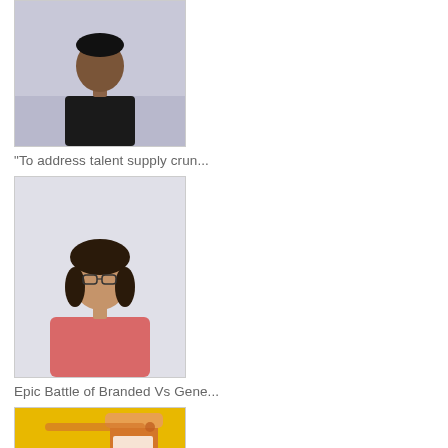[Figure (photo): Portrait of a man in a dark shirt against a light purple/grey background]
“To address talent supply crun…
[Figure (photo): Portrait of a woman with glasses wearing a pink outfit]
Epic Battle of Branded Vs Gene…
[Figure (photo): Prescription pill bottle tipped over with white tablets spilling out on a yellow background]
How deep runs ‘The Rot’ in the…
[Figure (photo): 3D rendered teal/cyan coronavirus virus particles on dark background]